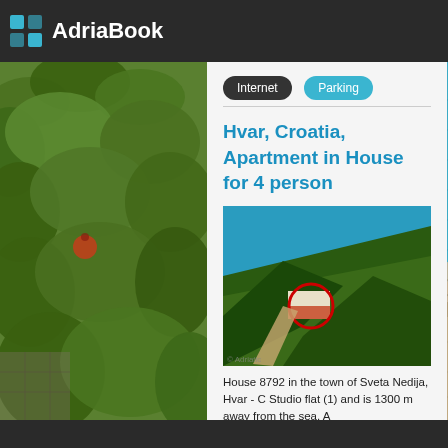AdriaBook
Internet
Parking
Hvar, Croatia, Apartment in House for 4 person
[Figure (photo): Aerial photo of house 8792 in Sveta Nedija, Hvar, Croatia, showing a white building circled in red among trees on a hillside with blue sea in the background]
House 8792 in the town of Sveta Nedija, Hvar - C Studio flat (1) and is 1300 m away from the sea. A